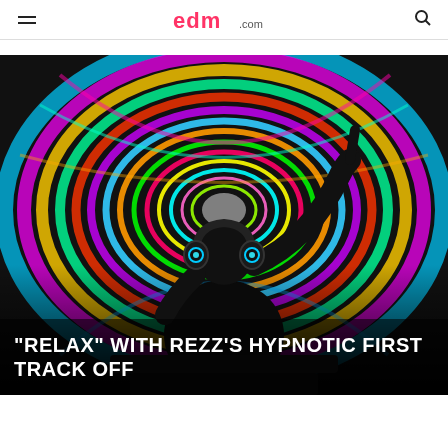EDM.com
[Figure (photo): DJ silhouetted against a colorful psychedelic swirling background display, wearing headphones with glowing eyes, right arm raised with finger pointing up, performing at a concert.]
“RELAX” WITH REZZ’S HYPNOTIC FIRST TRACK OFF